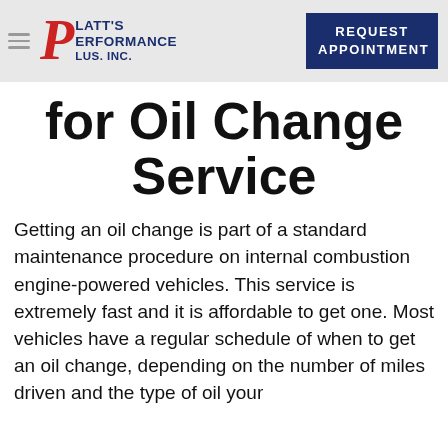Platt's Performance Plus Inc. — REQUEST APPOINTMENT
for Oil Change Service
Getting an oil change is part of a standard maintenance procedure on internal combustion engine-powered vehicles. This service is extremely fast and it is affordable to get one. Most vehicles have a regular schedule of when to get an oil change, depending on the number of miles driven and the type of oil your